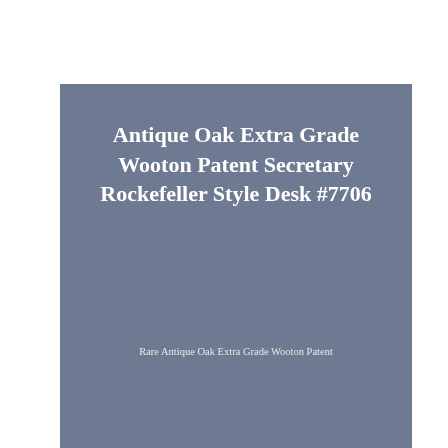Antique Oak Extra Grade Wooton Patent Secretary Rockefeller Style Desk #7706
Rare Antique Oak Extra Grade Wooton Patent